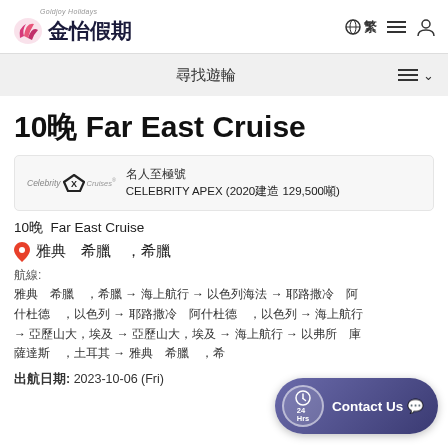Goldjoy Holidays 金怡假期 — navigation with globe icon 繁, hamburger menu, user icon
尋找遊輪
10晚 Far East Cruise
名人至極號 CELEBRITY APEX (2020建造 129,500噸)
10晚  Far East Cruise
雅典　希臘　，希臘
航線:
雅典　希臘　，希臘 → 海上航行 → 以色列海法 → 耶路撒冷　阿什杜德　，以色列 → 耶路撒冷　阿什杜德　，以色列 → 海上航行 → 亞歷山大，埃及 → 亞歷山大，埃及 → 海上航行 → 以弗所　庫薩達斯　，土耳其 → 雅典　希臘　，希臘
出航日期: 2023-10-06 (Fri)